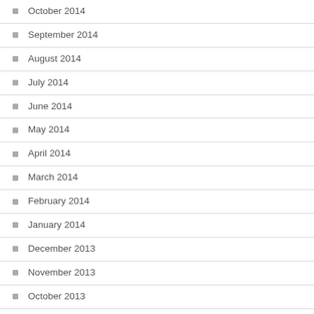October 2014
September 2014
August 2014
July 2014
June 2014
May 2014
April 2014
March 2014
February 2014
January 2014
December 2013
November 2013
October 2013
September 2013
August 2013